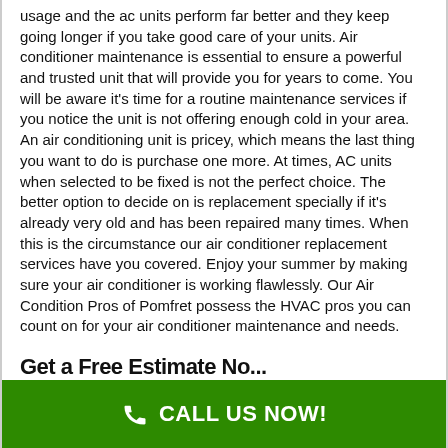usage and the ac units perform far better and they keep going longer if you take good care of your units. Air conditioner maintenance is essential to ensure a powerful and trusted unit that will provide you for years to come. You will be aware it's time for a routine maintenance services if you notice the unit is not offering enough cold in your area. An air conditioning unit is pricey, which means the last thing you want to do is purchase one more. At times, AC units when selected to be fixed is not the perfect choice. The better option to decide on is replacement specially if it's already very old and has been repaired many times. When this is the circumstance our air conditioner replacement services have you covered. Enjoy your summer by making sure your air conditioner is working flawlessly. Our Air Condition Pros of Pomfret possess the HVAC pros you can count on for your air conditioner maintenance and needs.
Get a Free Estimate No...
CALL US NOW!